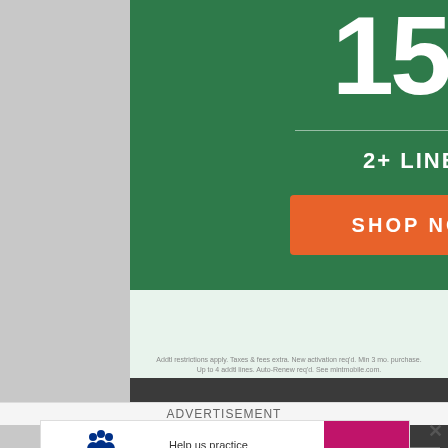[Figure (infographic): Mint Mobile advertisement showing '15 PER LINE' with '2+ LINES' and orange 'SHOP NOW' button on dark green background, with Mint Mobile logo on light green background]
Addtl restrictions apply. Taxes & fees extra. New activation req'd. Min 3 mo. purchase. Up to 4 addtl lines. Auto-Renew req'd. See mintmobile.com.
KNOWLEDGE BASE
ADVERTISEMENT
[Figure (infographic): Kaiser Permanente careers advertisement: Help us practice a higher level of total care. Explore Careers button.]